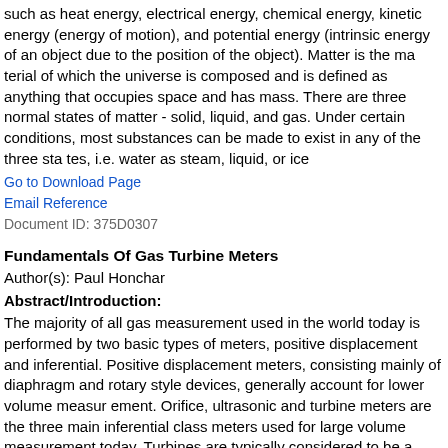such as heat energy, electrical energy, chemical energy, kinetic energy (energy of motion), and potential energy (intrinsic energy of an object due to the position of the object). Matter is the ma terial of which the universe is composed and is defined as anything that occupies space and has mass. There are three normal states of matter - solid, liquid, and gas. Under certain conditions, most substances can be made to exist in any of the three sta tes, i.e. water as steam, liquid, or ice
Go to Download Page
Email Reference
Document ID: 375D0307
Fundamentals Of Gas Turbine Meters
Author(s): Paul Honchar
Abstract/Introduction:
The majority of all gas measurement used in the world today is performed by two basic types of meters, positive displacement and inferential. Positive displacement meters, consisting mainly of diaphragm and rotary style devices, generally account for lower volume measur ement. Orifice, ultrasonic and turbine meters are the three main inferential class meters used for large volume measurement today. Turbines are typically considered to be a repeatable device used for accurate measurement over large and varying pressures and flow rates